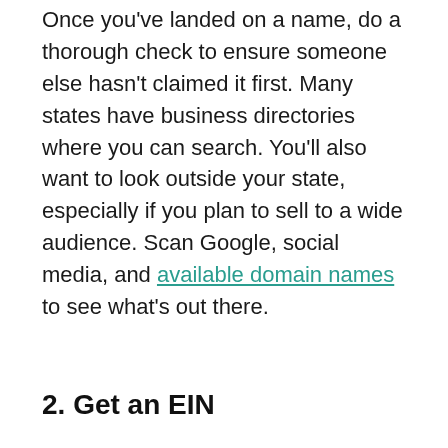Once you've landed on a name, do a thorough check to ensure someone else hasn't claimed it first. Many states have business directories where you can search. You'll also want to look outside your state, especially if you plan to sell to a wide audience. Scan Google, social media, and available domain names to see what's out there.
2. Get an EIN
Your employer identification number (EIN) separates your personal identity from your business identity. It acts like your business's social security number (SSN), so to speak. In